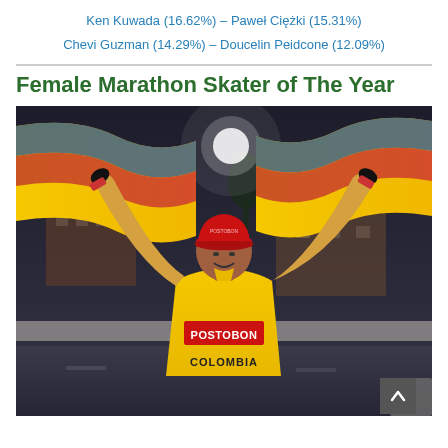Ken Kuwada (16.62%) – Paweł Ciężki (15.31%) Chevi Guzman (14.29%) – Doucelin Peidcone (12.09%)
Female Marathon Skater of The Year
[Figure (photo): Female athlete wearing a yellow Colombia Postobon jersey and red cap, holding up the Colombian flag overhead with both arms raised, celebrating a victory. Taken at night outdoors with buildings in the background.]